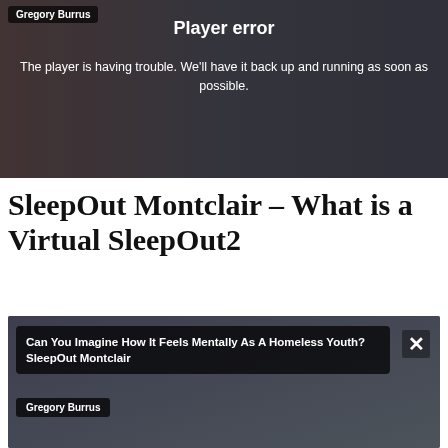[Figure (screenshot): Video player error screen with dark background showing two people, author badge 'Gregory Burrus', error title 'Player error', and message about player trouble]
SleepOut Montclair – What is a Virtual SleepOut2
[Figure (screenshot): Video thumbnail showing street scene with homeless youth, overlay text 'Can You Imagine How It Feels Mentally As A Homeless Youth? SleepOut Montclair', author badge 'Gregory Burrus', and close (X) button]